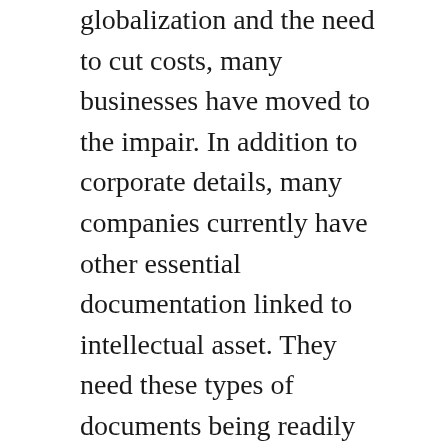globalization and the need to cut costs, many businesses have moved to the impair. In addition to corporate details, many companies currently have other essential documentation linked to intellectual asset. They need these types of documents being readily available and kept in a protect location. Online data areas offer the same security and convenience as physical data rooms, but without the cost. This service is perfect for businesses of all sizes, so be sure you check it out just before you sign up to a data space.
When it comes to deciding on a virtual data room company, make sure to reading their reviews on-line or online. data room providers A company that has been in company for years will have a number of reputable evaluations online. Third-party assessments will also give you an insight in a virtual data room provider's company. Readrittion of